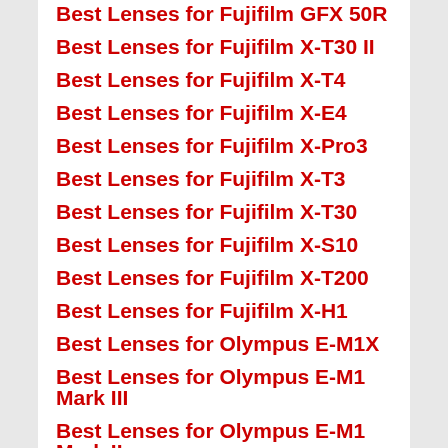Best Lenses for Fujifilm GFX 50R
Best Lenses for Fujifilm X-T30 II
Best Lenses for Fujifilm X-T4
Best Lenses for Fujifilm X-E4
Best Lenses for Fujifilm X-Pro3
Best Lenses for Fujifilm X-T3
Best Lenses for Fujifilm X-T30
Best Lenses for Fujifilm X-S10
Best Lenses for Fujifilm X-T200
Best Lenses for Fujifilm X-H1
Best Lenses for Olympus E-M1X
Best Lenses for Olympus E-M1 Mark III
Best Lenses for Olympus E-M1 Mark II
Best Lenses for Olympus E-M5 Mark III